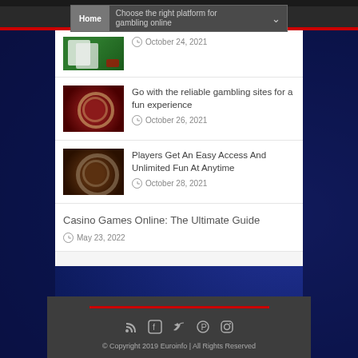Home | Choose the right platform for gambling online
October 24, 2021
Go with the reliable gambling sites for a fun experience
October 26, 2021
Players Get An Easy Access And Unlimited Fun At Anytime
October 28, 2021
Casino Games Online: The Ultimate Guide
May 23, 2022
© Copyright 2019 Euroinfo | All Rights Reserved